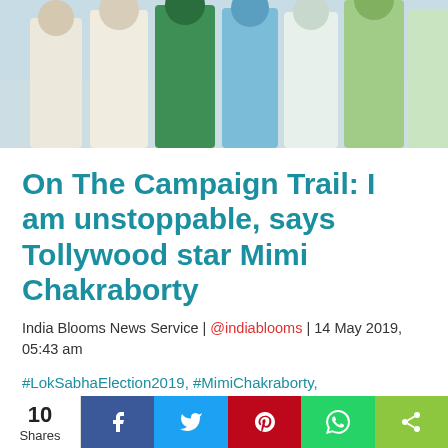[Figure (photo): Group of people in white and colored traditional clothing, standing together in a campaign setting]
On The Campaign Trail: I am unstoppable, says Tollywood star Mimi Chakraborty
India Blooms News Service | @indiablooms | 14 May 2019, 05:43 am
#LokSabhaElection2019, #MimiChakraborty, #TrinamoolCongress, #Jadavpur, #WestBengal
Actress-turned politician Mimi Chakraborty is fighting the Lok Sabha polls from the iconic Jadavpur constituency in West Bengal as a Trinamool Congress candidate. She is pitted against the BJP's